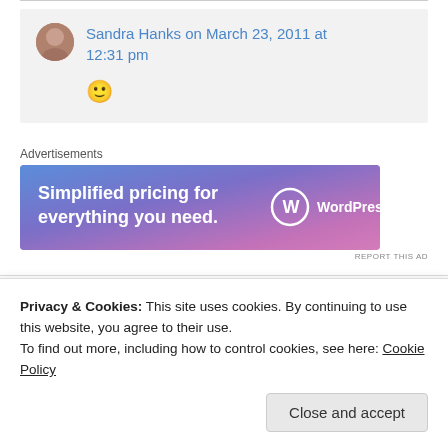Sandra Hanks on March 23, 2011 at 12:31 pm
[Figure (illustration): Smiley face emoji 🙂]
Advertisements
[Figure (screenshot): WordPress.com ad banner: Simplified pricing for everything you need.]
REPORT THIS AD
Privacy & Cookies: This site uses cookies. By continuing to use this website, you agree to their use.
To find out more, including how to control cookies, see here: Cookie Policy
Close and accept